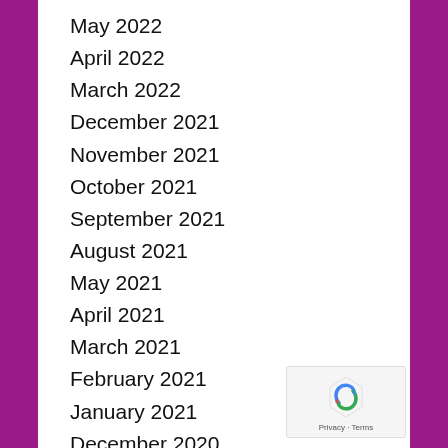May 2022
April 2022
March 2022
December 2021
November 2021
October 2021
September 2021
August 2021
May 2021
April 2021
March 2021
February 2021
January 2021
December 2020
October 2020
September 2020
August 2020
July 2020